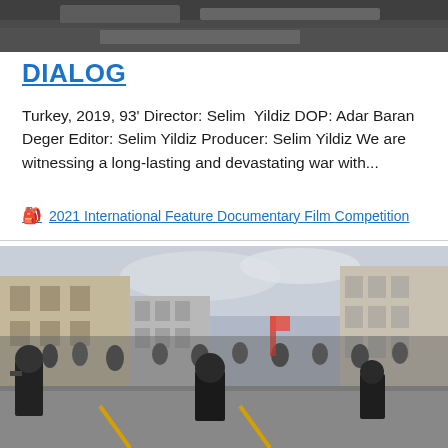[Figure (photo): Partial view of a dark rocky or landscape scene cropped at top of page]
DIALOG
Turkey, 2019, 93' Director: Selim  Yildiz DOP: Adar Baran Deger Editor: Selim Yildiz Producer: Selim Yildiz We are witnessing a long-lasting and devastating war with...
🎒 2021 International Feature Documentary Film Competition
[Figure (photo): Street scene showing riot police in black gear confronting a large crowd of protesters on a city street with classical buildings in the background]